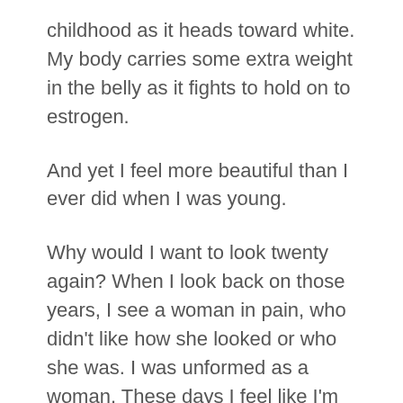childhood as it heads toward white. My body carries some extra weight in the belly as it fights to hold on to estrogen.
And yet I feel more beautiful than I ever did when I was young.
Why would I want to look twenty again? When I look back on those years, I see a woman in pain, who didn't like how she looked or who she was. I was unformed as a woman. These days I feel like I'm just starting to get interesting. My joys, my sorrows, the richness of my experience are all showing up on my face. Sure, I could get Botox or a little “work done,” but why would I? I've seen some former Hollywood beauties who went